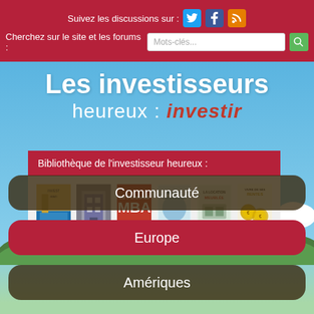Suivez les discussions sur :
Cherchez sur le site et les forums :
Les investisseurs heureux : investir
Bibliothèque de l'investisseur heureux :
[Figure (illustration): Row of 6 book covers in the investor library section]
Communauté
Europe
Amériques